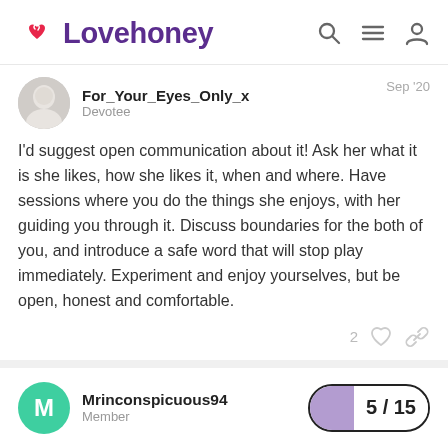Lovehoney
For_Your_Eyes_Only_x
Devotee
Sep '20
I'd suggest open communication about it! Ask her what it is she likes, how she likes it, when and where. Have sessions where you do the things she enjoys, with her guiding you through it. Discuss boundaries for the both of you, and introduce a safe word that will stop play immediately. Experiment and enjoy yourselves, but be open, honest and comfortable.
Mrinconspicuous94
Member
5 / 15